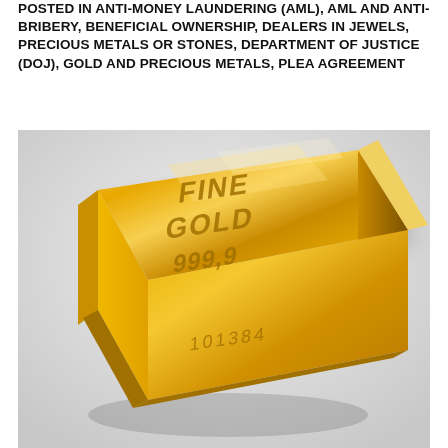POSTED IN ANTI-MONEY LAUNDERING (AML), AML AND ANTI-BRIBERY, BENEFICIAL OWNERSHIP, DEALERS IN JEWELS, PRECIOUS METALS OR STONES, DEPARTMENT OF JUSTICE (DOJ), GOLD AND PRECIOUS METALS, PLEA AGREEMENT
[Figure (photo): A gold bar stamped with 'FINE GOLD 999.9' and serial number '101384', photographed on a light grey/white background at an angle showing the top face and sides of the bar.]